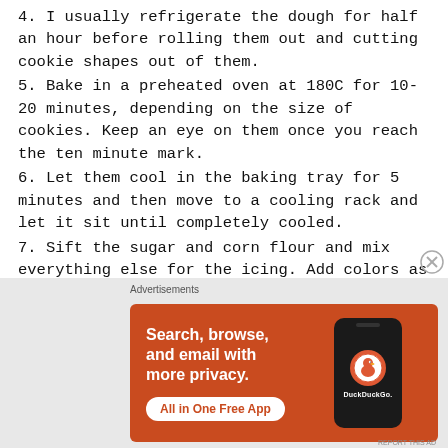4. I usually refrigerate the dough for half an hour before rolling them out and cutting cookie shapes out of them.
5. Bake in a preheated oven at 180C for 10-20 minutes, depending on the size of cookies. Keep an eye on them once you reach the ten minute mark.
6. Let them cool in the baking tray for 5 minutes and then move to a cooling rack and let it sit until completely cooled.
7. Sift the sugar and corn flour and mix everything else for the icing. Add colors as required. Use a ziplock cover as a piping cone, cut a very tiny hole and start decorating!!
[Figure (screenshot): DuckDuckGo advertisement banner with orange background. Text: 'Search, browse, and email with more privacy. All in One Free App'. Shows a phone with DuckDuckGo logo.]